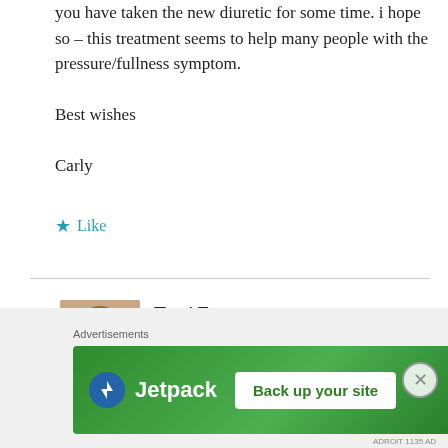you have taken the new diuretic for some time. i hope so – this treatment seems to help many people with the pressure/fullness symptom.
Best wishes
Carly
★ Like
Terri Evans says:
February 5, 2019 at 10:40 pm
I have had those tests done twice. The water in the
Advertisements
[Figure (screenshot): Jetpack advertisement banner with 'Back up your site' button on green background]